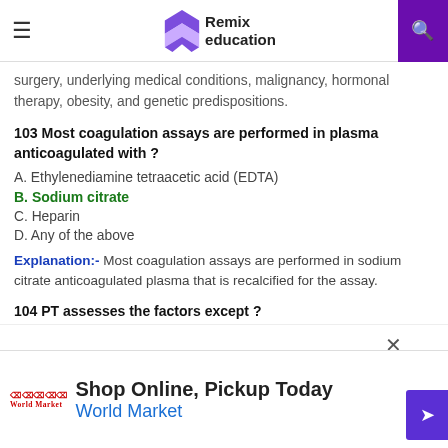Remix education
surgery, underlying medical conditions, malignancy, hormonal therapy, obesity, and genetic predispositions.
103 Most coagulation assays are performed in plasma anticoagulated with ?
A. Ethylenediamine tetraacetic acid (EDTA)
B. Sodium citrate
C. Heparin
D. Any of the above
Explanation:- Most coagulation assays are performed in sodium citrate anticoagulated plasma that is recalcified for the assay.
104 PT assesses the factors except ?
[Figure (other): Advertisement banner: Shop Online, Pickup Today - World Market]